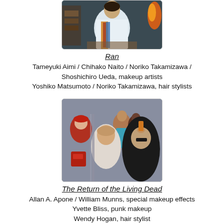[Figure (photo): Film still from Ran showing a person in a white robe with colorful sash/scarf, sitting at a table with items around them, flames visible in background.]
Ran
Tameyuki Aimi / Chihako Naito / Noriko Takamizawa / Shoshichiro Ueda, makeup artists
Yoshiko Matsumoto / Noriko Takamizawa, hair stylists
[Figure (photo): Film still from The Return of the Living Dead showing a group of punk-styled characters including a woman in a red beret and a man with a mohawk wearing sunglasses and leather jacket.]
The Return of the Living Dead
Allan A. Apone / William Munns, special makeup effects
Yvette Bliss, punk makeup
Wendy Hogan, hair stylist